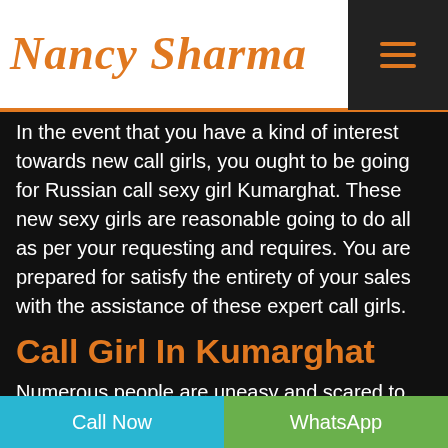Nancy Sharma
In the event that you have a kind of interest towards new call girls, you ought to be going for Russian call sexy girl Kumarghat. These new sexy girls are reasonable going to do all as per your requesting and requires. You are prepared for satisfy the entirety of your sales with the assistance of these expert call girls.
Call Girl In Kumarghat
Numerous people are uneasy and scared to use escort service or meet a free escort sexy girl. The service you are examining are distortion and some fake expert associations or from the red-light district in Kumarghat city. Notwithstanding, our service are for high-profile
Call Now   WhatsApp